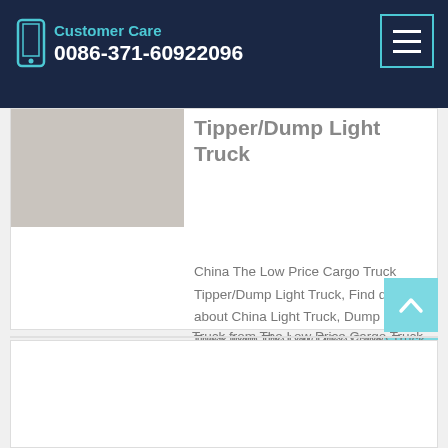Customer Care
0086-371-60922096
Tipper/Dump Light Truck
China The Low Price Cargo Truck Tipper/Dump Light Truck, Find details about China Light Truck, Dump Light Truck from The Low Price Cargo Truck Tipper/Dump Light Truck - SINOTRUK INDUSTRY IMPORT and EXPORT CO., LTD.
Learn More
[Figure (photo): Truck image placeholder]